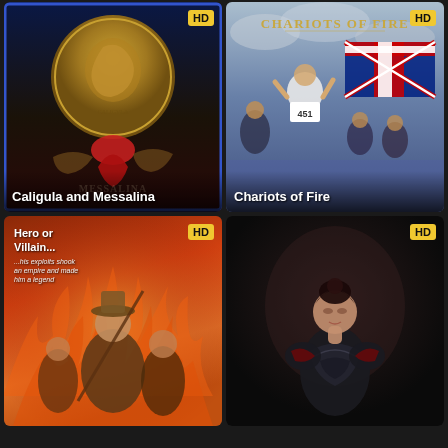[Figure (photo): Movie poster for 'Caligula and Messalina' showing a Roman-themed illustrated poster with a gold coin bearing a profile, a dancing female figure in red, and horses. Dark blue and brown tones. HD badge top-right. Title text at bottom.]
[Figure (photo): Movie poster for 'Chariots of Fire' showing a runner wearing bib number 451 in white clothing holding a Union Jack flag, surrounded by celebrating crowd. Blue-grey sky background. 'CHARIOTS OF FIRE' title text at top. HD badge top-right.]
[Figure (photo): Movie poster for an action/adventure film with text 'Hero or Villain... ...his exploits shook an empire and made him a legend'. Shows illustrated figures against fiery orange background. HD badge top-right.]
[Figure (photo): Movie poster showing a dark-haired Asian woman in dark armored costume against a dark background. HD badge top-right.]